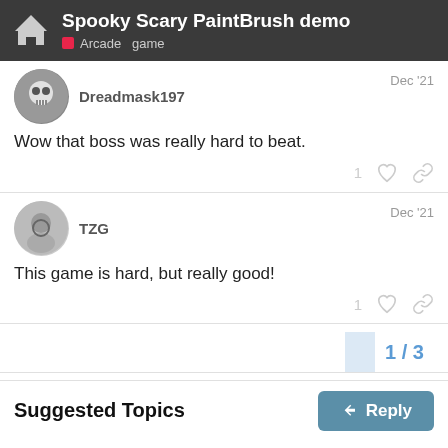Spooky Scary PaintBrush demo — Arcade game
Dreadmask197 — Dec '21
Wow that boss was really hard to beat.
TZG — Dec '21
This game is hard, but really good!
1 / 3
Suggested Topics